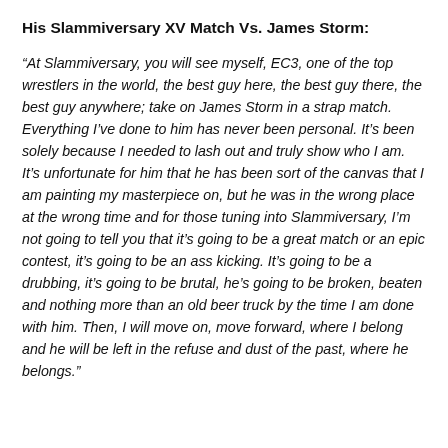His Slammiversary XV Match Vs. James Storm:
“At Slammiversary, you will see myself, EC3, one of the top wrestlers in the world, the best guy here, the best guy there, the best guy anywhere; take on James Storm in a strap match. Everything I’ve done to him has never been personal. It’s been solely because I needed to lash out and truly show who I am. It’s unfortunate for him that he has been sort of the canvas that I am painting my masterpiece on, but he was in the wrong place at the wrong time and for those tuning into Slammiversary, I’m not going to tell you that it’s going to be a great match or an epic contest, it’s going to be an ass kicking. It’s going to be a drubbing, it’s going to be brutal, he’s going to be broken, beaten and nothing more than an old beer truck by the time I am done with him. Then, I will move on, move forward, where I belong and he will be left in the refuse and dust of the past, where he belongs.”